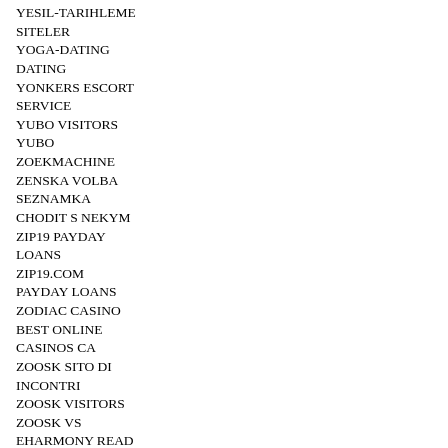YESIL-TARIHLEME SITELER
YOGA-DATING DATING
YONKERS ESCORT SERVICE
YUBO VISITORS
YUBO
ZOEKMACHINE
ZENSKA VOLBA SEZNAMKA CHODIT S NEKYM
ZIP19 PAYDAY LOANS
ZIP19.COM PAYDAY LOANS
ZODIAC CASINO BEST ONLINE CASINOS CA
ZOOSK SITO DI INCONTRI
ZOOSK VISITORS
ZOOSK VS EHARMONY READ MORE
ZOOSK VS POF REVIEW
ZOOSK-INCELEME VISITORS
ZOOSK-RECENZE RECENZE